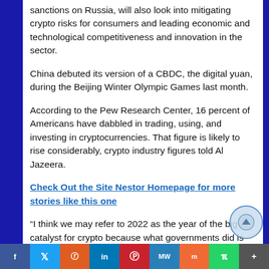sanctions on Russia, will also look into mitigating crypto risks for consumers and leading economic and technological competitiveness and innovation in the sector.
China debuted its version of a CBDC, the digital yuan, during the Beijing Winter Olympic Games last month.
According to the Pew Research Center, 16 percent of Americans have dabbled in trading, using, and investing in cryptocurrencies. That figure is likely to rise considerably, crypto industry figures told Al Jazeera.
Check Out the Site Nestor Homepage for more stories like this one
“I think we may refer to 2022 as the year of the big catalyst for crypto because what governments did is actually force adoption,” Ran Neuner, host of CNBC’s Crypto Trader, told Al Jazeera. “They put people in a position where they had no choice but to flee to the other system.”
f  Twitter  Reddit  in  Pinterest  MW  Mix  WhatsApp  More